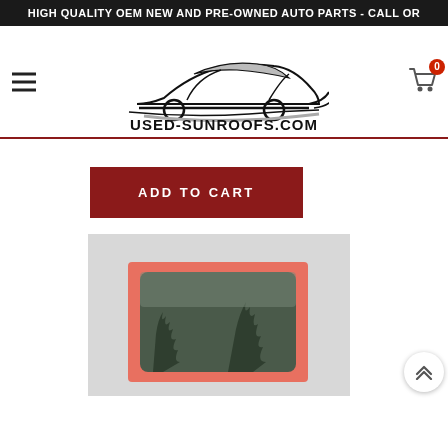HIGH QUALITY OEM NEW AND PRE-OWNED AUTO PARTS - CALL OR
[Figure (logo): Used-Sunroofs.com logo with stylized sports car silhouette above the text USED-SUNROOFS.COM]
[Figure (other): Shopping cart icon with red badge showing 0]
[Figure (other): Red ADD TO CART button]
[Figure (photo): Product photo of a used sunroof glass panel with pink/red border, trees reflected in the glass, on grey background]